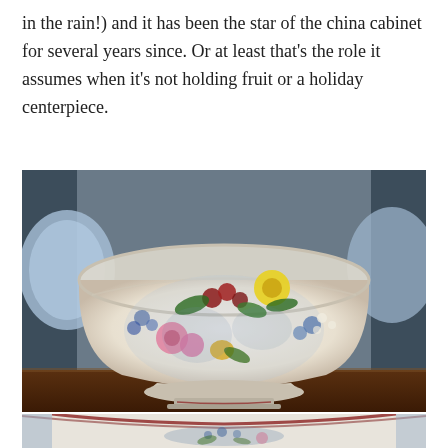in the rain!) and it has been the star of the china cabinet for several years since. Or at least that's the role it assumes when it's not holding fruit or a holiday centerpiece.
[Figure (photo): Close-up photograph of a decorative ceramic bowl with blue and multicolor floral transfer-ware pattern, sitting on a pedestal base on a wooden shelf. Other blue and white china pieces are visible in the background.]
[Figure (photo): Partial photograph showing the top/rim view of the same decorative ceramic piece with blue and multicolor floral transfer-ware pattern and a brown/red rim edge, viewed from above.]